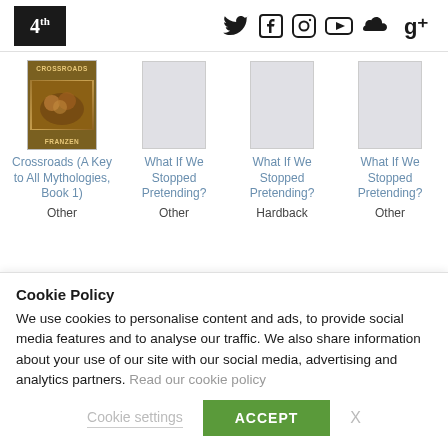4th estate social media links: Twitter, Facebook, Instagram, YouTube, SoundCloud, Google+
[Figure (screenshot): Book product grid showing Crossroads (A Key to All Mythologies, Book 1) and three copies of What If We Stopped Pretending? with formats: Other, Hardback, Other]
Crossroads (A Key to All Mythologies, Book 1)
Other
What If We Stopped Pretending?
Other
What If We Stopped Pretending?
Hardback
What If We Stopped Pretending?
Other
Cookie Policy
We use cookies to personalise content and ads, to provide social media features and to analyse our traffic. We also share information about your use of our site with our social media, advertising and analytics partners. Read our cookie policy
Cookie settings
ACCEPT
X